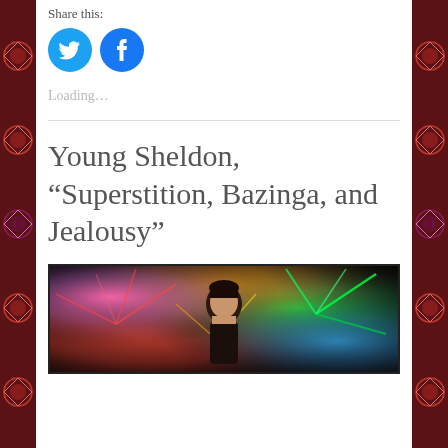Share this:
[Figure (other): Twitter and Facebook share buttons (circular blue icons)]
Loading…
Young Sheldon, “Superstition, Bazinga, and Jealousy”
[Figure (photo): A young boy with a serious expression surrounded by colorful laser lights with star burst effects in green, red, pink, orange, and yellow against a dark background]